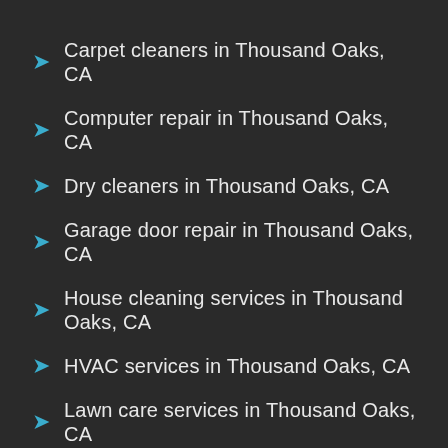Carpet cleaners in Thousand Oaks, CA
Computer repair in Thousand Oaks, CA
Dry cleaners in Thousand Oaks, CA
Garage door repair in Thousand Oaks, CA
House cleaning services in Thousand Oaks, CA
HVAC services in Thousand Oaks, CA
Lawn care services in Thousand Oaks, CA
Electricians in Thousand Oaks, CA